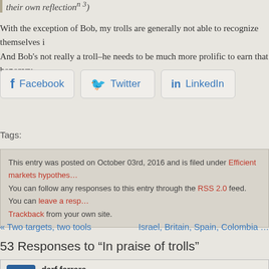their own reflectionⁿ ³)
With the exception of Bob, my trolls are generally not able to recognize themselves i… And Bob’s not really a troll–he needs to be much more prolific to earn that honorary …
[Figure (other): Social sharing buttons: Facebook, Twitter, LinkedIn]
Tags:
This entry was posted on October 03rd, 2016 and is filed under Efficient markets hypothes… You can follow any responses to this entry through the RSS 2.0 feed. You can leave a resp… Trackback from your own site.
« Two targets, two tools   Israel, Britain, Spain, Colombia …
53 Responses to “In praise of trolls”
darf ferrara
3. October 2016 at 09:16